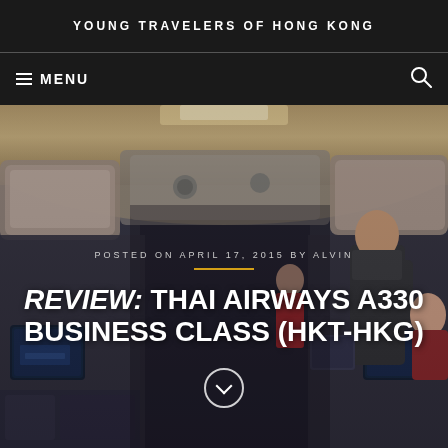YOUNG TRAVELERS OF HONG KONG
≡ MENU
[Figure (photo): Interior of an airplane business class cabin with overhead lighting, seats with screens visible, and passengers/crew in the aisle]
POSTED ON APRIL 17, 2015 BY ALVIN
REVIEW: THAI AIRWAYS A330 BUSINESS CLASS (HKT-HKG)